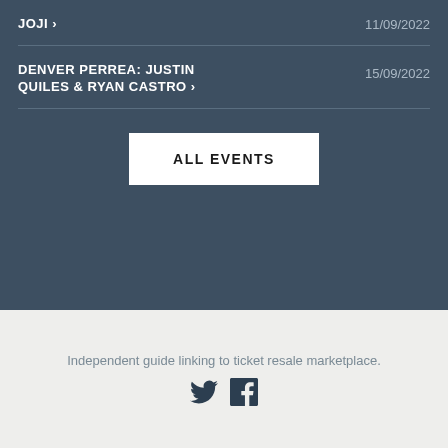JOJI › 11/09/2022
DENVER PERREA: JUSTIN QUILES & RYAN CASTRO › 15/09/2022
ALL EVENTS
Independent guide linking to ticket resale marketplace.